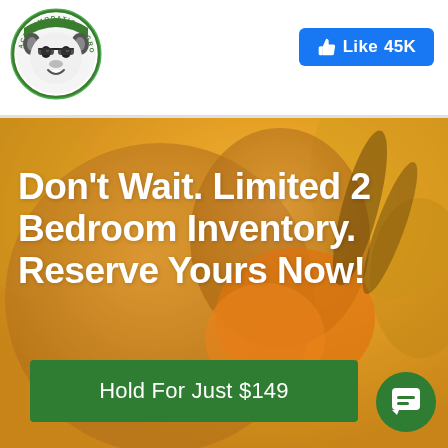[Figure (logo): Accommodations Group mascot logo — circular badge with animal face character, green and white colors]
[Figure (infographic): Facebook Like button showing thumbs up icon and '45K' likes count, blue background]
[Figure (photo): Mother and young child smiling together outdoors with golden/warm yellow color overlay. Child wearing orange life vest.]
Don't Wait. Limited 2 Bedroom Inventory. Reserve Yours Now!
Hold For Just $149
[Figure (other): Green circular chat/message bubble icon button in bottom right corner]